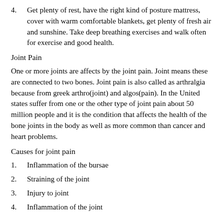4.    Get plenty of rest, have the right kind of posture mattress, cover with warm comfortable blankets, get plenty of fresh air and sunshine. Take deep breathing exercises and walk often for exercise and good health.
Joint Pain
One or more joints are affects by the joint pain. Joint means these are connected to two bones. Joint pain is also called as arthralgia because from greek arthro(joint) and algos(pain). In the United states suffer from one or the other type of joint pain about 50 million people and it is the condition that affects the health of the bone joints in the body as well as more common than cancer and heart problems.
Causes for joint pain
1.    Inflammation of the bursae
2.    Straining of the joint
3.    Injury to joint
4.    Inflammation of the joint